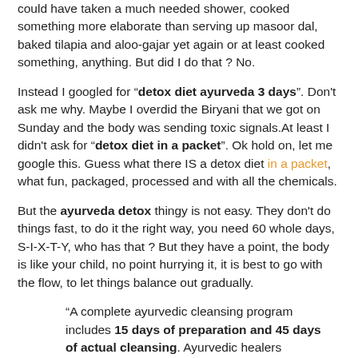could have taken a much needed shower, cooked something more elaborate than serving up masoor dal, baked tilapia and aloo-gajar yet again or at least cooked something, anything. But did I do that ? No.
Instead I googled for "detox diet ayurveda 3 days". Don't ask me why. Maybe I overdid the Biryani that we got on Sunday and the body was sending toxic signals.At least I didn't ask for "detox diet in a packet". Ok hold on, let me google this. Guess what there IS a detox diet in a packet, what fun, packaged, processed and with all the chemicals.
But the ayurveda detox thingy is not easy. They don't do things fast, to do it the right way, you need 60 whole days, S-I-X-T-Y, who has that ? But they have a point, the body is like your child, no point hurrying it, it is best to go with the flow, to let things balance out gradually.
"A complete ayurvedic cleansing program includes 15 days of preparation and 45 days of actual cleansing. Ayurvedic healers recommend paying special attention to your diet during these two phases to avoid overtaxing your digestion